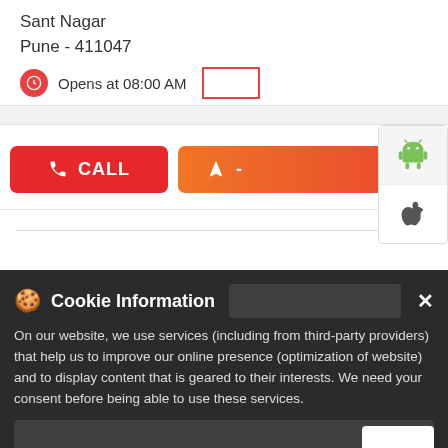Sant Nagar
Pune - 411047
Opens at 08:00 AM
CALL
-
[Figure (logo): Android logo (green robot icon)]
[Figure (logo): Apple logo (black Apple icon)]
Cookie Information
On our website, we use services (including from third-party providers) that help us to improve our online presence (optimization of website) and to display content that is geared to their interests. We need your consent before being able to use these services.
Book Uber to Sharekhan
T&C Apply